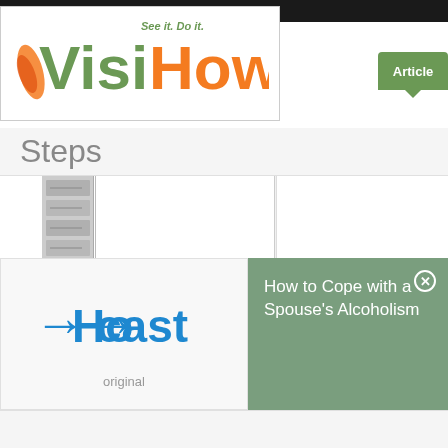[Figure (logo): VisiHow logo with tagline 'See it. Do it.' in green and orange colors]
Home  Articles
Steps
[Figure (screenshot): Screenshot of image editing software with toolbar on left and white canvas area]
[Figure (screenshot): Video player area with play button circle]
[Figure (logo): Howcast logo with blue arrow icon and text 'original']
How to Cope with a Spouse's Alcoholism